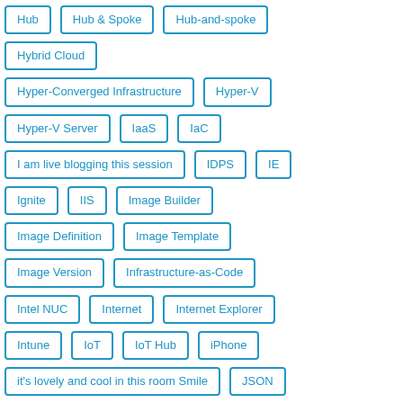Hub
Hub & Spoke
Hub-and-spoke
Hybrid Cloud
Hyper-Converged Infrastructure
Hyper-V
Hyper-V Server
IaaS
IaC
I am live blogging this session
IDPS
IE
Ignite
IIS
Image Builder
Image Definition
Image Template
Image Version
Infrastructure-as-Code
Intel NUC
Internet
Internet Explorer
Intune
IoT
IoT Hub
iPhone
it's lovely and cool in this room Smile
JSON